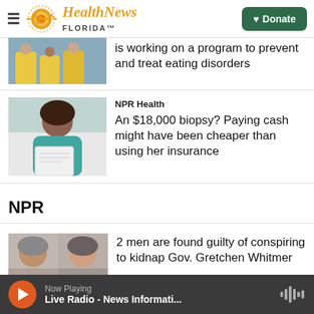Health News Florida — Donate
is working on a program to prevent and treat eating disorders
NPR Health
An $18,000 biopsy? Paying cash might have been cheaper than using her insurance
NPR
2 men are found guilty of conspiring to kidnap Gov. Gretchen Whitmer
Now Playing — Live Radio - News Informati...